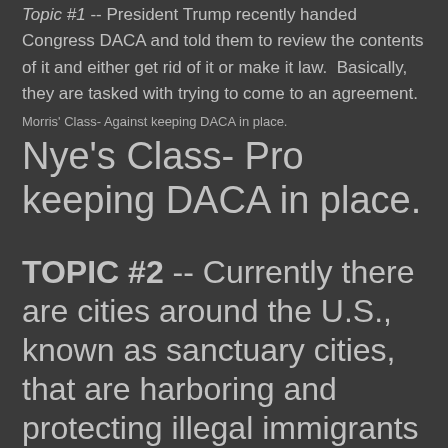Topic #1 -- President Trump recently handed Congress DACA and told them to review the contents of it and either get rid of it or make it law. Basically, they are tasked with trying to come to an agreement.
Morris' Class- Against keeping DACA in place.
Nye's Class- Pro keeping DACA in place.
TOPIC #2 -- Currently there are cities around the U.S., known as sanctuary cities, that are harboring and protecting illegal immigrants for various reasons. The federal government is now threatening to withhold federal funding to the